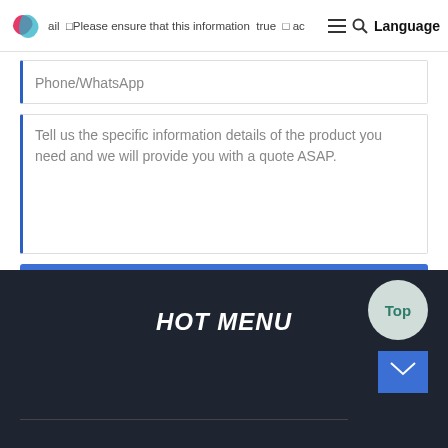ail □Please ensure that this information true and ac Language
Phone/WhatsApp
Tell us the specific information details of the product you need and we will provide you with a quote ASAP.
Send
HOT MENU